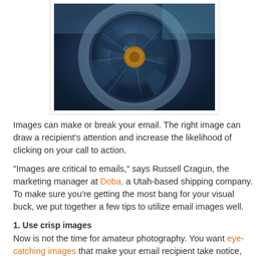[Figure (photo): Close-up photo of a camera lens aperture with blue tones and a circular mechanical iris pattern]
Images can make or break your email. The right image can draw a recipient's attention and increase the likelihood of clicking on your call to action.
“Images are critical to emails,” says Russell Cragun, the marketing manager at Doba, a Utah-based shipping company.  To make sure you’re getting the most bang for your visual buck, we put together a few tips to utilize email images well.
1. Use crisp images
Now is not the time for amateur photography. You want eye-catching images that make your email recipient take notice,